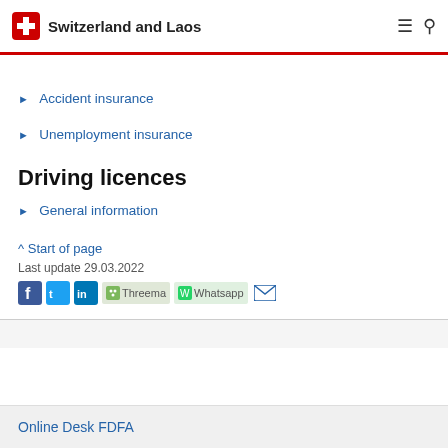Switzerland and Laos
Accident insurance
Unemployment insurance
Driving licences
General information
^ Start of page
Last update 29.03.2022
Online Desk FDFA